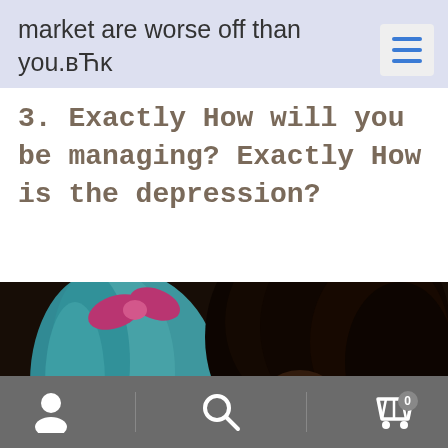market are worse off than you.вЋĸ
3. Exactly How will you be managing? Exactly How is the depression?
[Figure (photo): Two people close together, one with blue/teal hair with a pink bow, another with a large natural afro hairstyle, photographed in low light.]
Navigation bar with person icon, search icon, and cart icon with badge 0